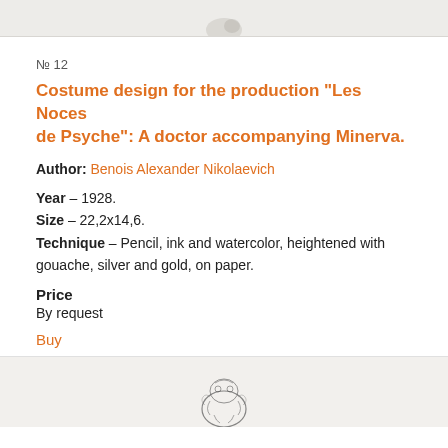[Figure (illustration): Top portion of a costume design sketch on light beige/grey background, partially cropped]
№ 12
Costume design for the production "Les Noces de Psyche": A doctor accompanying Minerva.
Author: Benois Alexander Nikolaevich
Year – 1928.
Size – 22,2x14,6.
Technique – Pencil, ink and watercolor, heightened with gouache, silver and gold, on paper.
Price
By request
Buy
[Figure (illustration): Bottom portion showing a costume design sketch on beige background, partially visible figure with decorative elements]